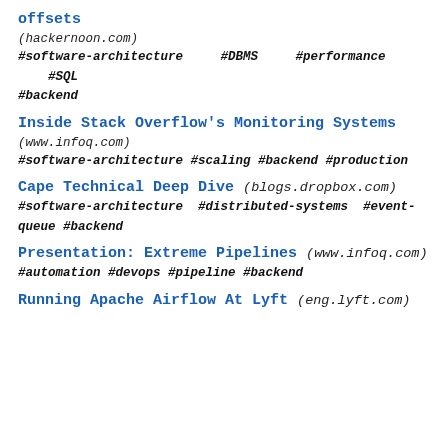offsets
(hackernoon.com)
#software-architecture    #DBMS    #performance    #SQL
#backend
Inside Stack Overflow's Monitoring Systems
(www.infoq.com)
#software-architecture #scaling #backend #production
Cape Technical Deep Dive
(blogs.dropbox.com)
#software-architecture  #distributed-systems  #event-queue #backend
Presentation: Extreme Pipelines
(www.infoq.com)
#automation #devops #pipeline #backend
Running Apache Airflow At Lyft
(eng.lyft.com)